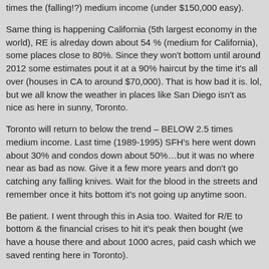times the (falling!?) medium income (under $150,000 easy).
Same thing is happening California (5th largest economy in the world), RE is alreday down about 54 % (medium for California), some places close to 80%. Since they won't bottom until around 2012 some estimates pout it at a 90% haircut by the time it's all over (houses in CA to around $70,000). That is how bad it is. lol, but we all know the weather in places like San Diego isn't as nice as here in sunny, Toronto.
Toronto will return to below the trend – BELOW 2.5 times medium income. Last time (1989-1995) SFH's here went down about 30% and condos down about 50%…but it was no where near as bad as now. Give it a few more years and don't go catching any falling knives. Wait for the blood in the streets and remember once it hits bottom it's not going up anytime soon.
Be patient. I went through this in Asia too. Waited for R/E to bottom & the financial crises to hit it's peak then bought (we have a house there and about 1000 acres, paid cash which we saved renting here in Toronto).
Like in many past bubble-bursts prices will go much lower than anyones imagines it can. The time to buy in Canada won't be until around 2014. When everyone tell's you it's the worst possible investment you can make then have a look at it.